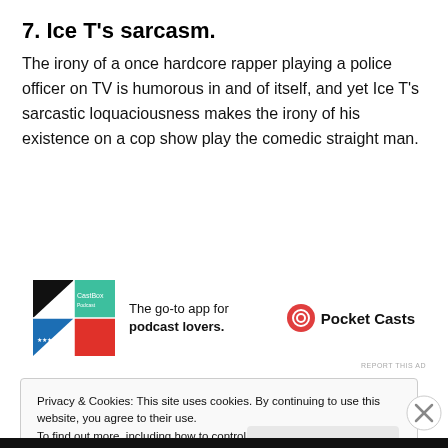7. Ice T's sarcasm.
The irony of a once hardcore rapper playing a police officer on TV is humorous in and of itself, and yet Ice T's sarcastic loquaciousness makes the irony of his existence on a cop show play the comedic straight man.
[Figure (other): Pocket Casts app advertisement: colorful geometric app icon on left, text 'The go-to app for podcast lovers.' in center, Pocket Casts logo and brand name on right.]
REPORT THIS AD
Privacy & Cookies: This site uses cookies. By continuing to use this website, you agree to their use.
To find out more, including how to control cookies, see here: Cookie Policy
Close and accept